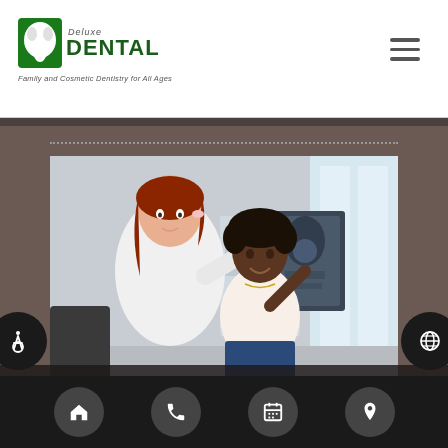[Figure (logo): Deluxe Dental logo with green tooth icon and tagline 'Family and Cosmetic Dentistry for All Ages']
[Figure (photo): A dental professional in white coat showing an X-ray film to a smiling female patient in a dental office setting]
What To Expect When Getting X-rays From A